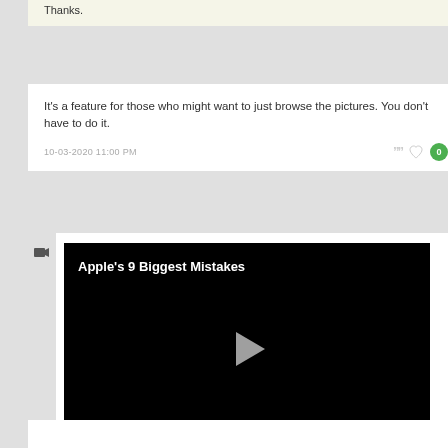Thanks.
It's a feature for those who might want to just browse the pictures. You don't have to do it.
10-03-2020 11:00 PM
[Figure (screenshot): Video thumbnail showing black background with title 'Apple's 9 Biggest Mistakes' and a play button triangle in the center]